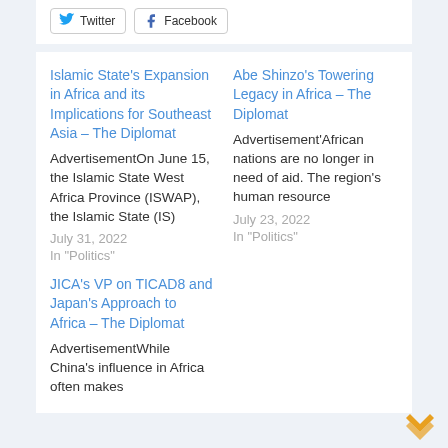Twitter  Facebook
Islamic State's Expansion in Africa and its Implications for Southeast Asia – The Diplomat
AdvertisementOn June 15, the Islamic State West Africa Province (ISWAP), the Islamic State (IS)
July 31, 2022
In "Politics"
Abe Shinzo's Towering Legacy in Africa – The Diplomat
Advertisement'African nations are no longer in need of aid. The region's human resource
July 23, 2022
In "Politics"
JICA's VP on TICAD8 and Japan's Approach to Africa – The Diplomat
AdvertisementWhile China's influence in Africa often makes